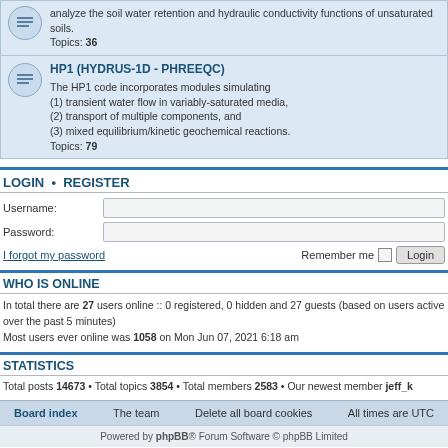analyze the soil water retention and hydraulic conductivity functions of unsaturated soils. Topics: 36
HP1 (HYDRUS-1D - PHREEQC)
The HP1 code incorporates modules simulating (1) transient water flow in variably-saturated media, (2) transport of multiple components, and (3) mixed equilibrium/kinetic geochemical reactions. Topics: 79
LOGIN • REGISTER
Username:
Password:
I forgot my password
Remember me  Login
WHO IS ONLINE
In total there are 27 users online :: 0 registered, 0 hidden and 27 guests (based on users active over the past 5 minutes)
Most users ever online was 1058 on Mon Jun 07, 2021 6:18 am
STATISTICS
Total posts 14673 • Total topics 3854 • Total members 2583 • Our newest member jeff_k
Board index   The team   Delete all board cookies   All times are UTC
Powered by phpBB® Forum Software © phpBB Limited